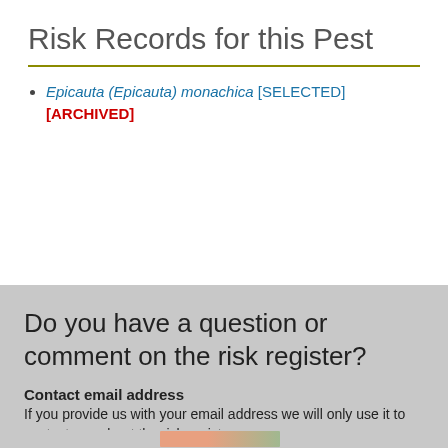Risk Records for this Pest
Epicauta (Epicauta) monachica [SELECTED] [ARCHIVED]
Do you have a question or comment on the risk register?
Contact email address
If you provide us with your email address we will only use it to contact you about the risk register.